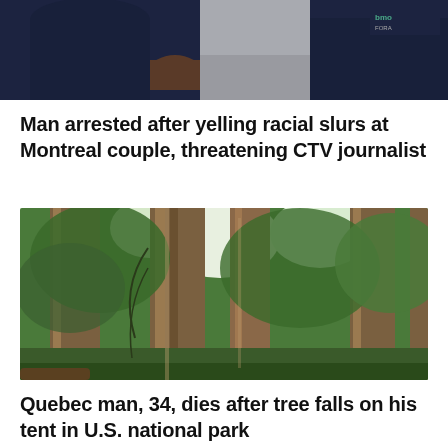[Figure (photo): Partial view of two people in dark shirts, cropped at torso level, outdoors on a road or pavement.]
Man arrested after yelling racial slurs at Montreal couple, threatening CTV journalist
[Figure (photo): Tall old-growth trees with lush green foliage in a forest, viewed from ground level looking up.]
Quebec man, 34, dies after tree falls on his tent in U.S. national park